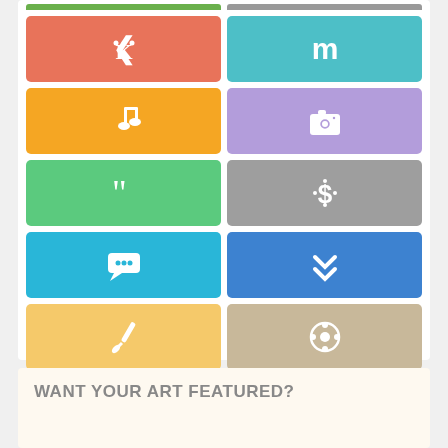[Figure (infographic): A 2-column grid of 12 colorful icon tiles: (1) salmon/orange tile with a K-like vector icon, (2) teal tile with letter 'm', (3) orange tile with music note, (4) purple tile with camera icon, (5) green tile with quotation marks, (6) gray tile with dollar sign and dots, (7) light blue tile with chat bubble, (8) blue tile with double chevron down, (9) yellow tile with paintbrush, (10) tan/khaki tile with film reel, (11) red-coral tile with code tag </>, (12) lime green tile with pencil]
WANT YOUR ART FEATURED?